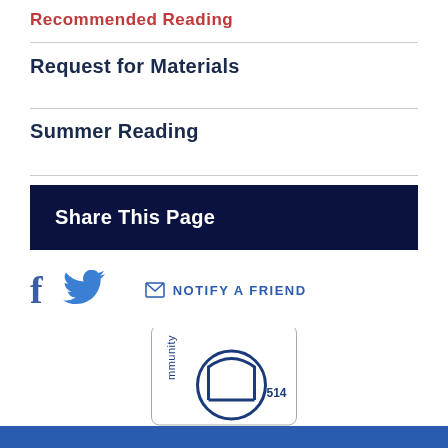Recommended Reading
Request for Materials
Summer Reading
Share This Page
[Figure (infographic): Social sharing icons: Facebook (f), Twitter bird, envelope icon with NOTIFY A FRIEND link]
[Figure (photo): Partially visible library card with community text and library logo, overlapping a blue bar at the bottom]